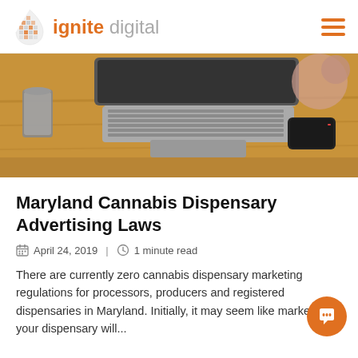ignite digital
[Figure (photo): Overhead view of a laptop computer on a wooden desk with a smartphone, headphones, and a coffee cup]
Maryland Cannabis Dispensary Advertising Laws
April 24, 2019  |  1 minute read
There are currently zero cannabis dispensary marketing regulations for processors, producers and registered dispensaries in Maryland. Initially, it may seem like marketing your dispensary will...